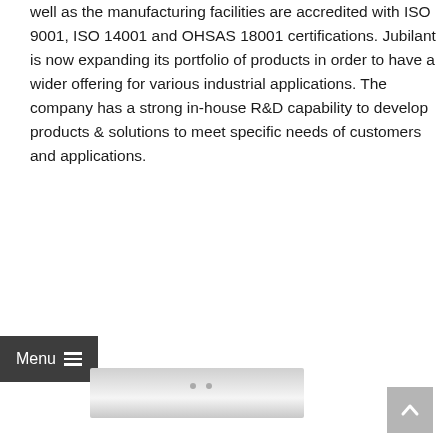well as the manufacturing facilities are accredited with ISO 9001, ISO 14001 and OHSAS 18001 certifications. Jubilant is now expanding its portfolio of products in order to have a wider offering for various industrial applications. The company has a strong in-house R&D capability to develop products & solutions to meet specific needs of customers and applications.
[Figure (screenshot): Menu bar overlay with dark background showing 'Menu' text and hamburger icon, with a partial view of a white/silver industrial container or equipment below]